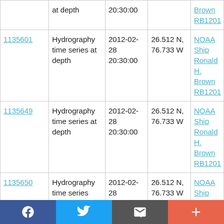| ID | Type | Date/Time | Location | Platform |
| --- | --- | --- | --- | --- |
| (partial) | at depth | 20:30:00 |  | Brown
RB1201 |
| 1135601 | Hydrography time series at depth | 2012-02-28 20:30:00 | 26.512 N, 76.733 W | NOAA Ship Ronald H. Brown RB1201 |
| 1135649 | Hydrography time series at depth | 2012-02-28 20:30:00 | 26.512 N, 76.733 W | NOAA Ship Ronald H. Brown RB1201 |
| 1135650 | Hydrography time series (partial) | 2012-02-28 | 26.512 N, 76.733 W | NOAA Ship (partial) |
Facebook | Twitter | Email | +